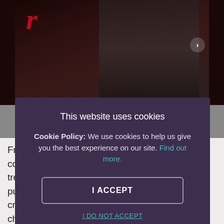[Figure (photo): Dark restaurant/bar background photo showing cocktail-related imagery with red neon lettering partially visible]
This website uses cookies
Cookie Policy: We use cookies to help us give you the best experience on our site. Find out more.
I ACCEPT
I DO NOT ACCEPT
From the sizzling New York-style menu to cock... trees and craft beer, The Hustle's offerings are pure crowd-pleasers. Chow down on tacos, mac 'n' cheese and pizzas with your other half at this disco